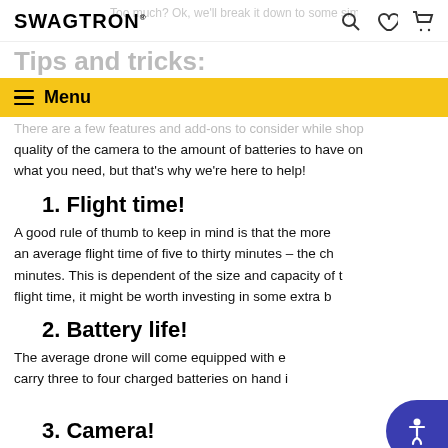SWAGTRON
Tips and tricks:
Menu
There are a few features and add-ons to consider while shopping...
quality of the camera to the amount of batteries to have on what you need, but that's why we're here to help!
1. Flight time!
A good rule of thumb to keep in mind is that the more an average flight time of five to thirty minutes – the ch minutes. This is dependent of the size and capacity of t flight time, it might be worth investing in some extra b
2. Battery life!
The average drone will come equipped with e carry three to four charged batteries on hand i
3. Camera!